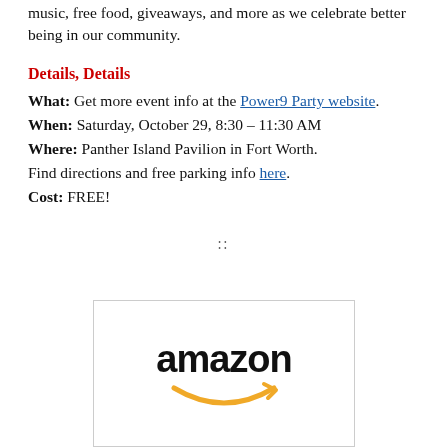music, free food, giveaways, and more as we celebrate better being in our community.
Details, Details
What: Get more event info at the Power9 Party website.
When: Saturday, October 29, 8:30 – 11:30 AM
Where: Panther Island Pavilion in Fort Worth. Find directions and free parking info here.
Cost: FREE!
[Figure (logo): Amazon logo with smile/arrow graphic in a bordered box]